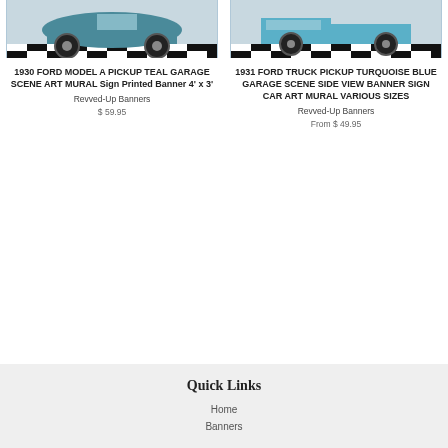[Figure (photo): 1930 Ford Model A Pickup Teal car from front angle on checkered floor]
[Figure (photo): 1931 Ford Truck Pickup Turquoise Blue side view on checkered floor]
1930 FORD MODEL A PICKUP TEAL GARAGE SCENE ART MURAL Sign Printed Banner 4' x 3'
Revved-Up Banners
$ 59.95
1931 FORD TRUCK PICKUP TURQUOISE BLUE GARAGE SCENE SIDE VIEW BANNER SIGN CAR ART MURAL VARIOUS SIZES
Revved-Up Banners
From $ 49.95
Quick Links
Home
Banners